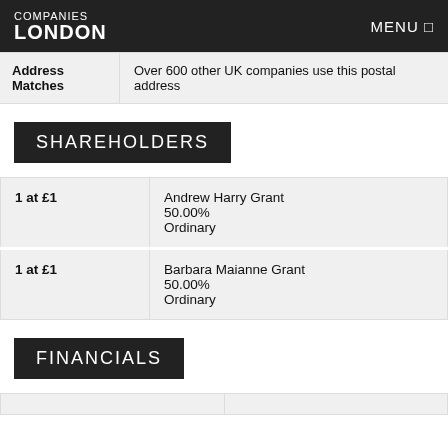COMPANIES LONDON | MENU
| Address Matches |  |
| --- | --- |
| Address Matches | Over 600 other UK companies use this postal address |
SHAREHOLDERS
| Shares | Shareholder |
| --- | --- |
| 1 at £1 | Andrew Harry Grant
50.00%
Ordinary |
| 1 at £1 | Barbara Maianne Grant
50.00%
Ordinary |
FINANCIALS